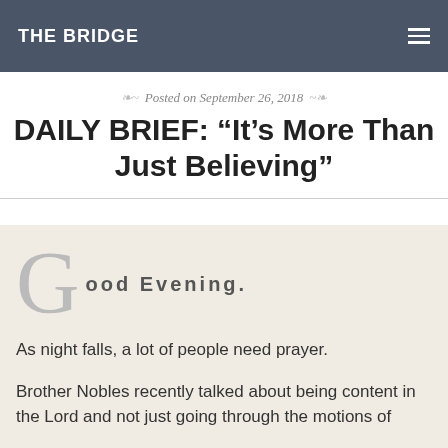THE BRIDGE
Posted on September 26, 2018
DAILY BRIEF: “It’s More Than Just Believing”
Good Evening.
As night falls, a lot of people need prayer.
Brother Nobles recently talked about being content in the Lord and not just going through the motions of